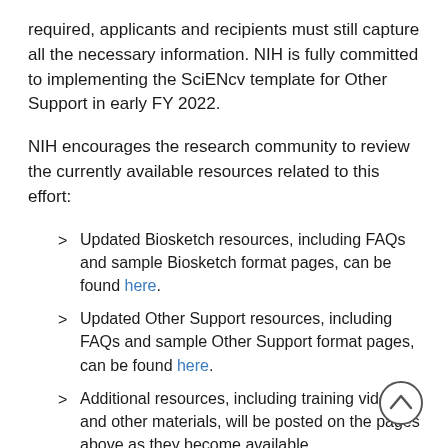required, applicants and recipients must still capture all the necessary information. NIH is fully committed to implementing the SciENcv template for Other Support in early FY 2022.
NIH encourages the research community to review the currently available resources related to this effort:
Updated Biosketch resources, including FAQs and sample Biosketch format pages, can be found here.
Updated Other Support resources, including FAQs and sample Other Support format pages, can be found here.
Additional resources, including training videos and other materials, will be posted on the pages above as they become available.
Biosketch updates and changes overview-